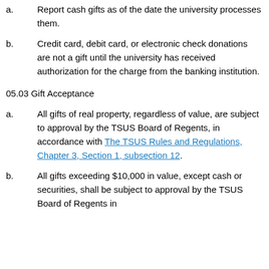a. Report cash gifts as of the date the university processes them.
b. Credit card, debit card, or electronic check donations are not a gift until the university has received authorization for the charge from the banking institution.
05.03 Gift Acceptance
a. All gifts of real property, regardless of value, are subject to approval by the TSUS Board of Regents, in accordance with The TSUS Rules and Regulations, Chapter 3, Section 1, subsection 12.
b. All gifts exceeding $10,000 in value, except cash or securities, shall be subject to approval by the TSUS Board of Regents in